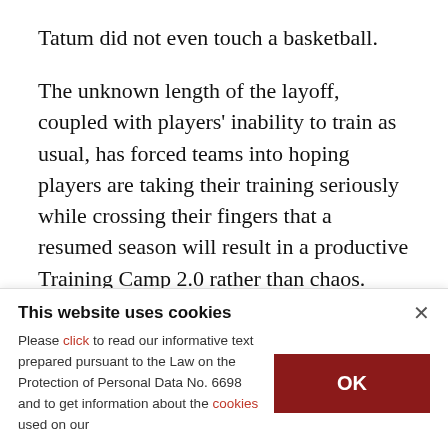Tatum did not even touch a basketball.
The unknown length of the layoff, coupled with players' inability to train as usual, has forced teams into hoping players are taking their training seriously while crossing their fingers that a resumed season will result in a productive Training Camp 2.0 rather than chaos.
"The super-talented guys can kind of jump back
This website uses cookies
Please click to read our informative text prepared pursuant to the Law on the Protection of Personal Data No. 6698 and to get information about the cookies used on our